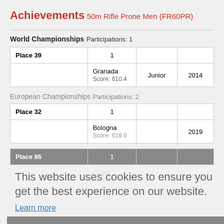Achievements
50m Rifle Prone Men (FR60PR)
World Championships
Participations: 1
| Place 39 | 1 |  |  |
| --- | --- | --- | --- |
|  | Granada
Score: 610.4 | Junior | 2014 |
European Championships
Participations: 2
| Place 32 | 1 |  |  |
| --- | --- | --- | --- |
|  | Bologna
Score: 619.9 |  | 2019 |
| Place 86 | 1 |  |  |
| --- | --- | --- | --- |
|  | Osijek
Score: 617.1 |  | 2021 |